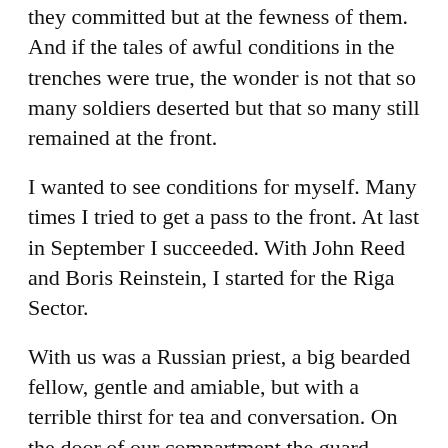they committed but at the fewness of them. And if the tales of awful conditions in the trenches were true, the wonder is not that so many soldiers deserted but that so many still remained at the front.
I wanted to see conditions for myself. Many times I tried to get a pass to the front. At last in September I succeeded. With John Reed and Boris Reinstein, I started for the Riga Sector.
With us was a Russian priest, a big bearded fellow, gentle and amiable, but with a terrible thirst for tea and conversation. On the door of our compartment the guard slapped up a sign that said: “American Mission.” Under this aegis we slept and ate as the train crept thru the autumn drizzle and the priest talked endlessly on about his soldiers.
“In the old text of the church prayers,” he said, “God is called Czar of Heaven and the Virgin, Czarina. We’ve had to leave that out. The people won’t have God insulted that way. The minister of war once told…